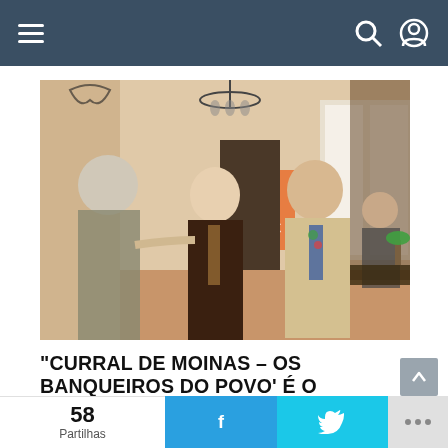Navigation bar with hamburger menu and search/user icons
[Figure (photo): Three men in business attire in what appears to be a bank interior. Two men in the center are shaking hands and smiling. One man on the left has white hair seen from behind, the center man wears a dark suit with patterned tie, and the right man wears a beige suit with a floral tie. A partial orange BIC sign is visible in background. Another man in suit is seated at a desk in the far background.]
"CURRAL DE MOINAS – OS BANQUEIROS DO POVO' É O FILME PORTUGUÊS MAIS VISTO DO ANO
58 Partilhas  f  🐦  ...